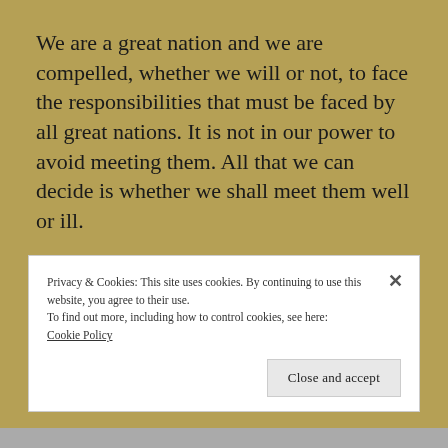We are a great nation and we are compelled, whether we will or not, to face the responsibilities that must be faced by all great nations. It is not in our power to avoid meeting them. All that we can decide is whether we shall meet them well or ill.
Teddy Roosevelt speech to the Lincoln Club dinner, New York City, February 12, 1899
Privacy & Cookies: This site uses cookies. By continuing to use this website, you agree to their use.
To find out more, including how to control cookies, see here:
Cookie Policy
Close and accept